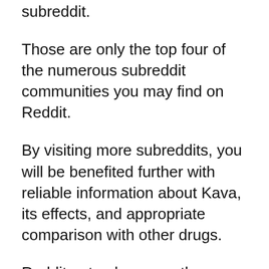subreddit.
Those are only the top four of the numerous subreddit communities you may find on Reddit.
By visiting more subreddits, you will be benefited further with reliable information about Kava, its effects, and appropriate comparison with other drugs.
Reddit not only serves the purpose of providing accurate information but also allows you to share your personal experience and knowledge.